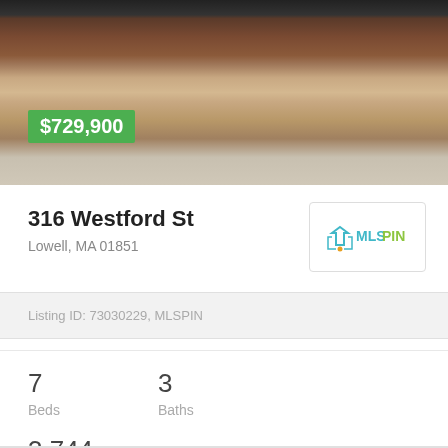[Figure (photo): Exterior photo of a brick commercial/residential building with storefronts, showing a barbershop sign. Price badge overlay showing $729,900 in green.]
316 Westford St
Lowell, MA 01851
[Figure (logo): MLS PIN logo with teal/green icon and text]
Listing ID: 73030229, MLSPIN
7
Beds
3
Baths
3,744
Sq Ft